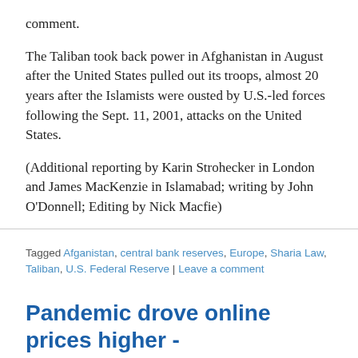comment.
The Taliban took back power in Afghanistan in August after the United States pulled out its troops, almost 20 years after the Islamists were ousted by U.S.-led forces following the Sept. 11, 2001, attacks on the United States.
(Additional reporting by Karin Strohecker in London and James MacKenzie in Islamabad; writing by John O'Donnell; Editing by Nick Macfie)
Tagged Afganistan, central bank reserves, Europe, Sharia Law, Taliban, U.S. Federal Reserve | Leave a comment
Pandemic drove online prices higher - report